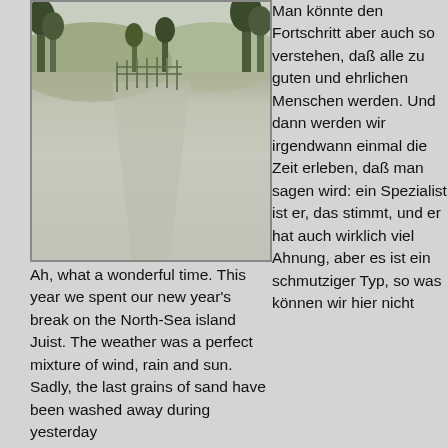[Figure (photo): Outdoor photo showing trees and a path or landscape, taken on North Sea island Juist]
Ah, what a wonderful time. This year we spent our new year's break on the North-Sea island Juist. The weather was a perfect mixture of wind, rain and sun. Sadly, the last grains of sand have been washed away during yesterday
Man könnte den Fortschritt aber auch so verstehen, daß alle zu guten und ehrlichen Menschen werden. Und dann werden wir irgendwann einmal die Zeit erleben, daß man sagen wird: ein Spezialist ist er, das stimmt, und er hat auch wirklich viel Ahnung, aber es ist ein schmutziger Typ, so was können wir hier nicht